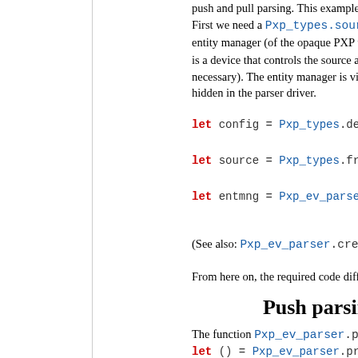push and pull parsing. This example is similar... First we need a Pxp_types.source that says f... entity manager (of the opaque PXP type Pxp_e... is a device that controls the source and switche... necessary). The entity manager is visible to the... hidden in the parser driver.
let config = Pxp_types.default_config
let source = Pxp_types.from_file "file...
let entmng = Pxp_ev_parser.create_enti...
(See also: Pxp_ev_parser.create_entity_ma...
From here on, the required code differs in both...
Push parsing
The function Pxp_ev_parser.process_entit...
let () = Pxp_ev_parser.process_entity...
The callback function is here shown as (fun e... (of type Pxp_types.event). It is ensured that...